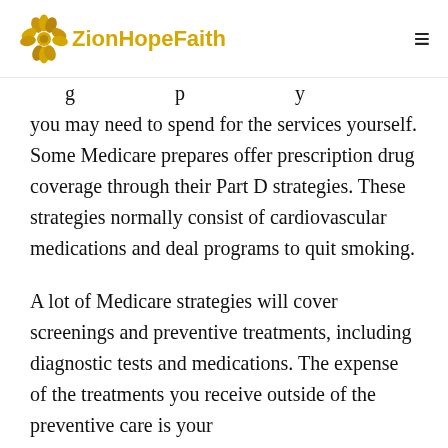ZionHopeFaith
you may need to spend for the services yourself. Some Medicare prepares offer prescription drug coverage through their Part D strategies. These strategies normally consist of cardiovascular medications and deal programs to quit smoking.
A lot of Medicare strategies will cover screenings and preventive treatments, including diagnostic tests and medications. The expense of the treatments you receive outside of the preventive care is your